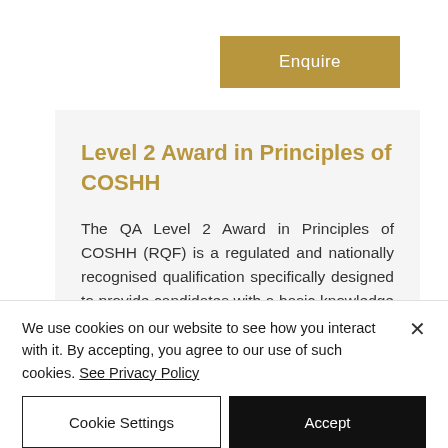[Figure (other): Gold/tan colored 'Enquire' button]
Level 2 Award in Principles of COSHH
The QA Level 2 Award in Principles of COSHH (RQF) is a regulated and nationally recognised qualification specifically designed to provide candidates with a basic knowledge of
We use cookies on our website to see how you interact with it. By accepting, you agree to our use of such cookies. See Privacy Policy
Cookie Settings
Accept